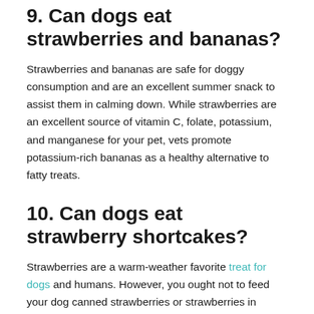9. Can dogs eat strawberries and bananas?
Strawberries and bananas are safe for doggy consumption and are an excellent summer snack to assist them in calming down. While strawberries are an excellent source of vitamin C, folate, potassium, and manganese for your pet, vets promote potassium-rich bananas as a healthy alternative to fatty treats.
10. Can dogs eat strawberry shortcakes?
Strawberries are a warm-weather favorite treat for dogs and humans. However, you ought not to feed your dog canned strawberries or strawberries in syrup, and these aren't good for your pet at all.
Conclusion